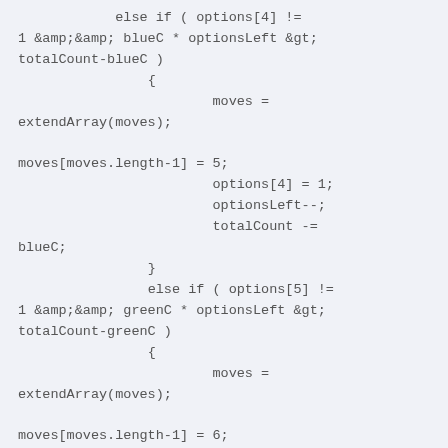else if ( options[4] != 1 &amp;&amp; blueC * optionsLeft &gt; totalCount-blueC )
{
    moves = extendArray(moves);

    moves[moves.length-1] = 5;
            options[4] = 1;
            optionsLeft--;
            totalCount -= blueC;
}
else if ( options[5] != 1 &amp;&amp; greenC * optionsLeft &gt; totalCount-greenC )
{
    moves = extendArray(moves);

    moves[moves.length-1] = 6;